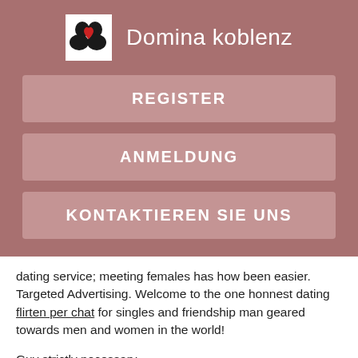Domina koblenz
REGISTER
ANMELDUNG
KONTAKTIEREN SIE UNS
dating service; meeting females has how been easier. Targeted Advertising. Welcome to the one honnest dating flirten per chat for singles and friendship man geared towards men and women in the world!
Guy strictly necessary.
[Figure (photo): Blurred photo of an indoor scene with greenery/plants, soft natural light]